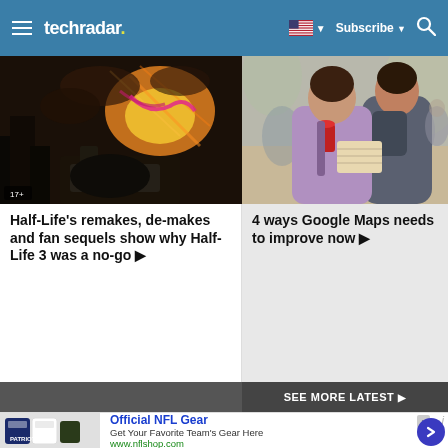techradar — Subscribe — Search
[Figure (screenshot): TechRadar website screenshot with navigation bar, two article thumbnails (Half-Life game scene and two women with map), SEE MORE LATEST button, and NFL Gear advertisement]
Half-Life's remakes, de-makes and fan sequels show why Half-Life 3 was a no-go ▶
4 ways Google Maps needs to improve now ▶
SEE MORE LATEST ▶
Official NFL Gear
Get Your Favorite Team's Gear Here
www.nflshop.com